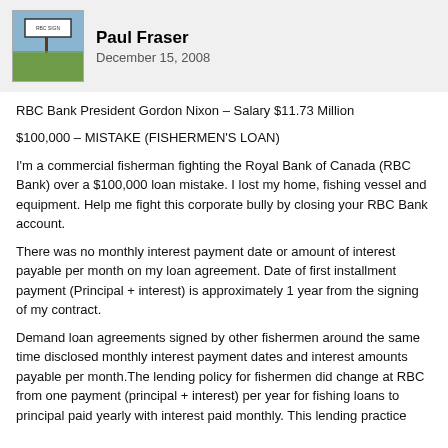Paul Fraser
December 15, 2008
RBC Bank President Gordon Nixon – Salary $11.73 Million
$100,000 – MISTAKE (FISHERMEN'S LOAN)
I'm a commercial fisherman fighting the Royal Bank of Canada (RBC Bank) over a $100,000 loan mistake. I lost my home, fishing vessel and equipment. Help me fight this corporate bully by closing your RBC Bank account.
There was no monthly interest payment date or amount of interest payable per month on my loan agreement. Date of first installment payment (Principal + interest) is approximately 1 year from the signing of my contract.
Demand loan agreements signed by other fishermen around the same time disclosed monthly interest payment dates and interest amounts payable per month.The lending policy for fishermen did change at RBC from one payment (principal + interest) per year for fishing loans to principal paid yearly with interest paid monthly. This lending practice